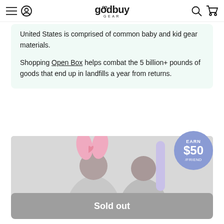goodbuy GEAR
United States is comprised of common baby and kid gear materials.

Shopping Open Box helps combat the 5 billion+ pounds of goods that end up in landfills a year from returns.
[Figure (photo): Children wearing pink bunny ears costume accessories, photo partially visible]
Sold out